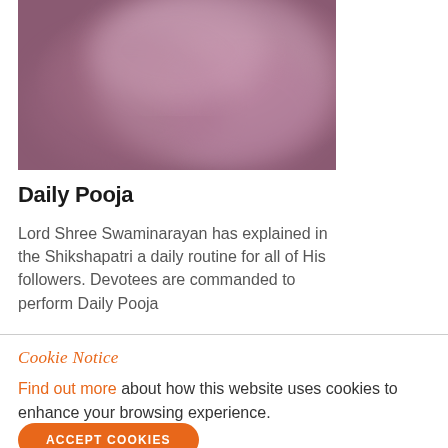[Figure (photo): A blurred/abstract image with pink and mauve tones, appearing to be a decorative or artistic photograph related to Daily Pooja]
Daily Pooja
Lord Shree Swaminarayan has explained in the Shikshapatri a daily routine for all of His followers. Devotees are commanded to perform Daily Pooja
Cookie Notice
Find out more about how this website uses cookies to enhance your browsing experience.
ACCEPT COOKIES